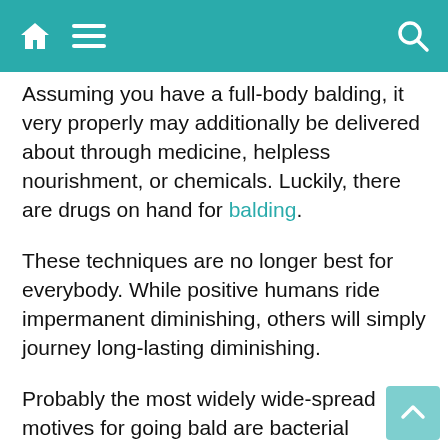[Header bar with home, menu, and search icons]
Assuming you have a full-body balding, it very properly may additionally be delivered about through medicine, helpless nourishment, or chemicals. Luckily, there are drugs on hand for balding.
These techniques are no longer best for everybody. While positive humans ride impermanent diminishing, others will simply journey long-lasting diminishing.
Probably the most widely wide-spread motives for going bald are bacterial contaminations and hormonal changes. Sporadically, people journey going bald due to the fact of stress.